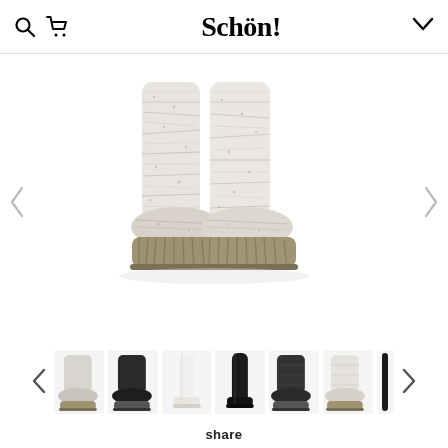Schön!
[Figure (photo): Close-up of a pair of knit sock boots with white/grey marbled textile upper and a ribbed tan/khaki chunky sole, displayed on white background]
[Figure (photo): Thumbnail strip showing 6 different boot styles: grey knit sock boot, black knit sock boot, white tall boot, black tall boot, black/grey knit boot, white/grey knit boot, and a thin black item]
share